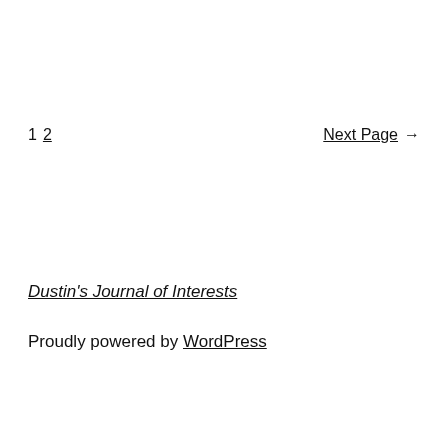1 2   Next Page →
Dustin's Journal of Interests
Proudly powered by WordPress